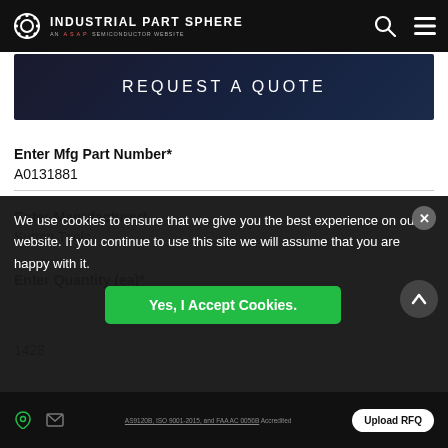INDUSTRIAL PART SPHERE | AN ASAP SEMICONDUCTOR WEBSITE
REQUEST A QUOTE
Enter Mfg Part Number*
A0131881
Enter Manufacturer*
Sutton Tools
Enter Quantity (ea)*
1428
We use cookies to ensure that we give you the best experience on our website. If you continue to use this site we will assume that you are happy with it.
Yes, I Accept Cookies.
AS9120B, ISO 9001-2015, and FAA AC 0056B Accredited | Upload RFQ